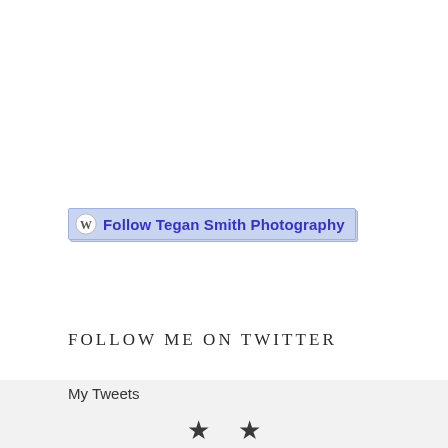[Figure (other): WordPress Follow button with icon reading 'Follow Tegan Smith Photography' in bold blue text on a light blue background]
FOLLOW ME ON TWITTER
My Tweets
[Figure (other): Two black star icons in a light grey footer bar]